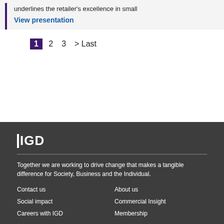underlines the retailer's excellence in small
View presentation
1  2  3  > Last
IGD logo — Together we are working to drive change that makes a tangible difference for Society, Business and the Individual.
Contact us | About us | Social impact | Commercial Insight | Careers with IGD | Membership